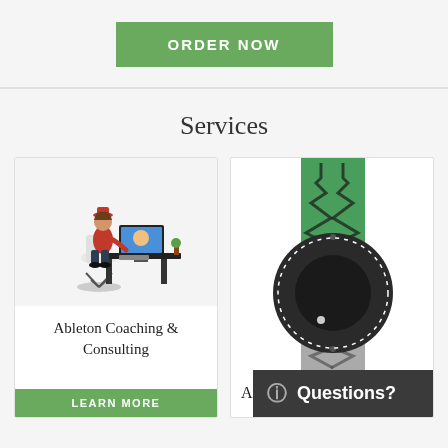ORDER NOW
Services
[Figure (illustration): Isometric illustration of a person with a red hat sitting at a desk using a laptop, video call visible on screen]
Ableton Coaching & Consulting
LEARN MORE
[Figure (illustration): Audio waveform with green and gray sections and a large dark rotary knob/dial in the center]
Ar
Questions?